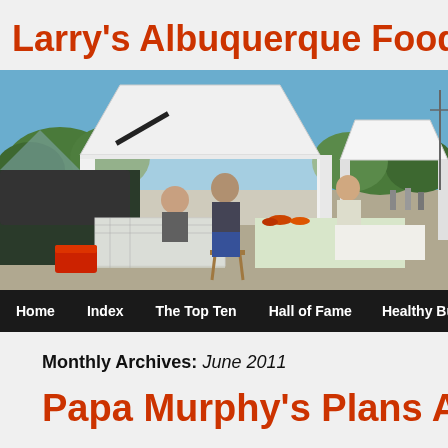Larry's Albuquerque Food Mus…
[Figure (photo): Outdoor farmer's market scene with white canopy tents, a car with open trunk, people at vendor tables with food and products, blue sky with trees in background]
Home   Index   The Top Ten   Hall of Fame   Healthy But Grea…
Monthly Archives: June 2011
Papa Murphy's Plans Alb…